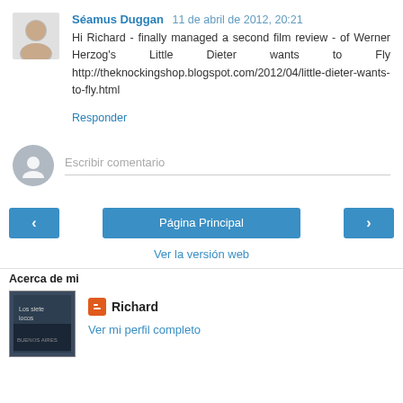Séamus Duggan  11 de abril de 2012, 20:21
Hi Richard - finally managed a second film review - of Werner Herzog's Little Dieter wants to Fly http://theknockingshop.blogspot.com/2012/04/little-dieter-wants-to-fly.html
Responder
Escribir comentario
‹
Página Principal
›
Ver la versión web
Acerca de mi
Richard
Ver mi perfil completo